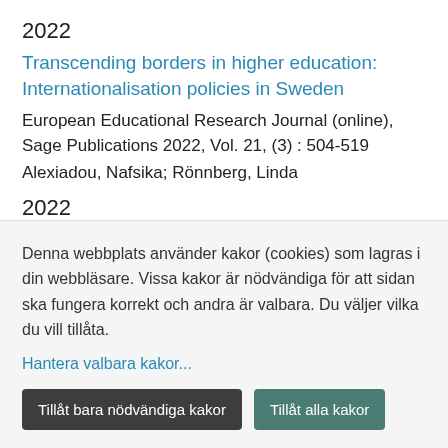2022
Transcending borders in higher education: Internationalisation policies in Sweden
European Educational Research Journal (online), Sage Publications 2022, Vol. 21, (3) : 504-519
Alexiadou, Nafsika; Rönnberg, Linda
2022
Transitions and trajectories for school students...
Denna webbplats använder kakor (cookies) som lagras i din webbläsare. Vissa kakor är nödvändiga för att sidan ska fungera korrekt och andra är valbara. Du väljer vilka du vill tillåta.
Hantera valbara kakor...
Tillåt bara nödvändiga kakor
Tillåt alla kakor